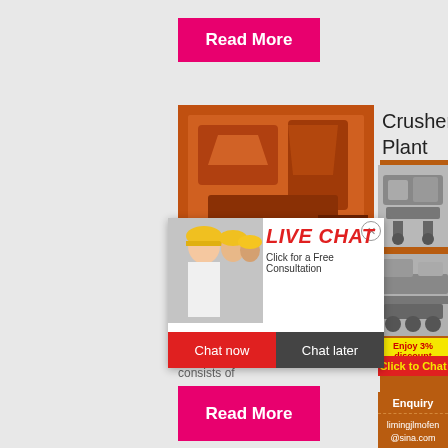Read More
[Figure (photo): Orange crusher plant machinery]
Crusher Plant
[Figure (photo): Live chat overlay with woman in hard hat and colleagues. Text: LIVE CHAT, Click for a Free Consultation, Chat now, Chat later]
[Figure (photo): Crusher plant machinery on orange background - two images stacked]
Crus
In addition, crush plant mainly consists of
Enjoy 3% discount
Click to Chat
Enquiry
limingjlmofen@sina.com
Read More